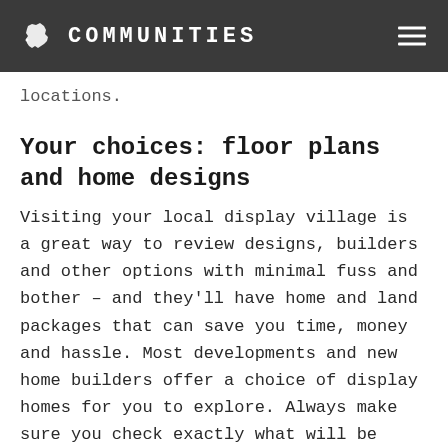COMMUNITIES
locations.
Your choices: floor plans and home designs
Visiting your local display village is a great way to review designs, builders and other options with minimal fuss and bother – and they'll have home and land packages that can save you time, money and hassle. Most developments and new home builders offer a choice of display homes for you to explore. Always make sure you check exactly what will be included in the price, as display homes may feature premium finishes for things like tiles and carpets that cost more than the standard design. Some